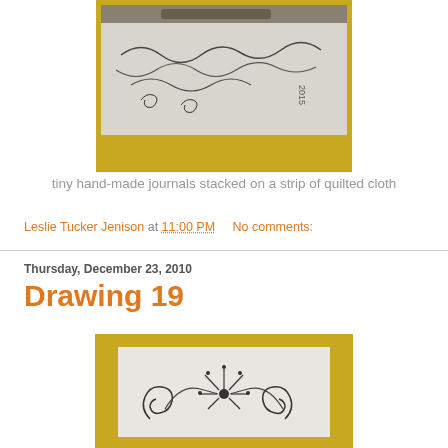[Figure (photo): Photo of tiny hand-made journals stacked on a strip of quilted cloth, with decorative swirl pen drawings visible on white paper, placed on a yellow/gold cloth background]
tiny hand-made journals stacked on a strip of quilted cloth
Leslie Tucker Jenison at 11:00 PM    No comments:
Thursday, December 23, 2010
Drawing 19
[Figure (photo): Photo of a hand-drawn sketch with decorative swirl and floral designs in black ink on white paper, placed on a yellow/gold background]